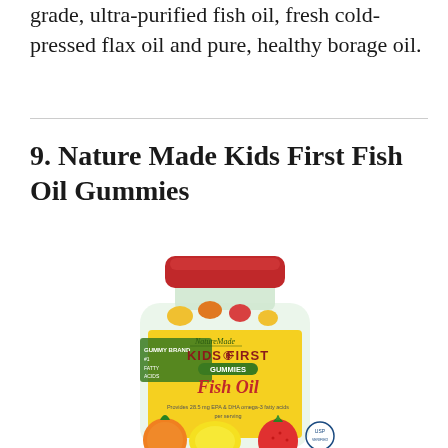grade, ultra-purified fish oil, fresh cold-pressed flax oil and pure, healthy borage oil.
9. Nature Made Kids First Fish Oil Gummies
[Figure (photo): Nature Made Kids First Fish Oil Gummies bottle with red cap and yellow label showing colorful gummy candies. Label reads: NatureMade KIDS FIRST GUMMIES Fish Oil - Provides 28.5 mg EPA & DHA omega-3 fatty acids per serving]